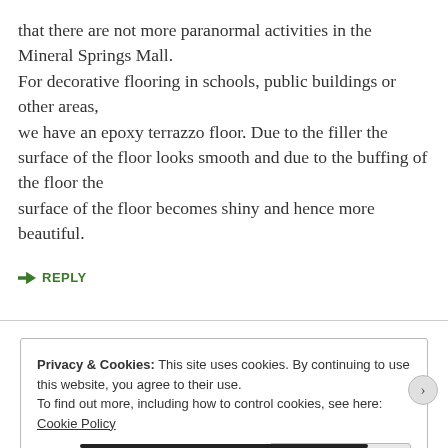that there are not more paranormal activities in the Mineral Springs Mall.
For decorative flooring in schools, public buildings or other areas,
we have an epoxy terrazzo floor. Due to the filler the surface of the floor looks smooth and due to the buffing of the floor the
surface of the floor becomes shiny and hence more beautiful.
↪ REPLY
Privacy & Cookies: This site uses cookies. By continuing to use this website, you agree to their use.
To find out more, including how to control cookies, see here: Cookie Policy
Close and accept